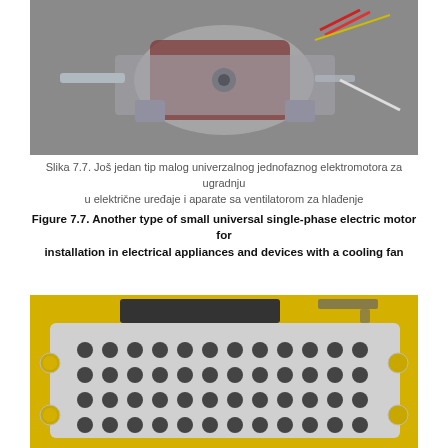[Figure (photo): Small universal single-phase electric motor for installation in electrical appliances and devices with a cooling fan, shown on gray background with red wires and metal mounting bracket]
Slika 7.7. Još jedan tip malog univerzalnog jednofaznog elektromotora za ugradnju
u električne uređaje i aparate sa ventilatorom za hlađenje
Figure 7.7. Another type of small universal single-phase electric motor for installation in electrical appliances and devices with a cooling fan
[Figure (photo): Close-up photo of yellow electrical appliance interior showing a perforated metal plate with circular holes arranged in a grid pattern, mounted inside a yellow-painted metal housing]